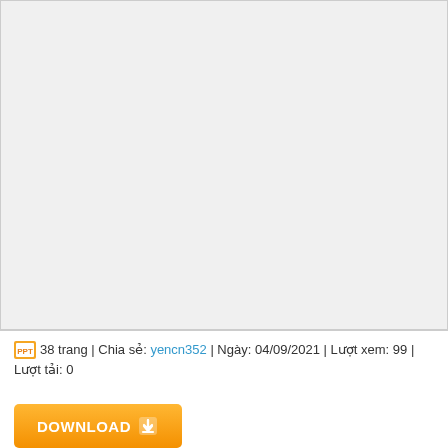[Figure (other): Gray preview area for a document (blank/empty preview)]
38 trang | Chia sẻ: yencn352 | Ngày: 04/09/2021 | Lượt xem: 99 | Lượt tải: 0
[Figure (other): Orange DOWNLOAD button with arrow icon]